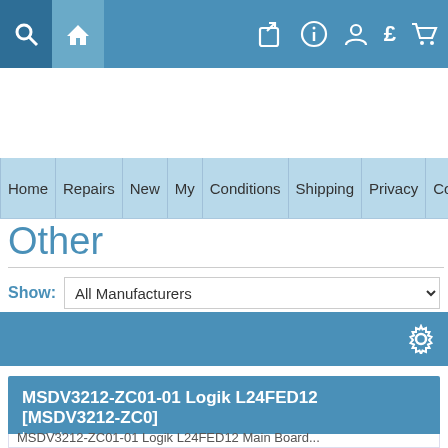Toolbar with search, home, share, info, user, £, cart icons
Home | Repairs | New | My | Conditions | Shipping | Privacy | Contact | User | About
Other
Show: All Manufacturers
[Figure (screenshot): Blue bar with gear/settings icon]
MSDV3212-ZC01-01 Logik L24FED12 [MSDV3212-ZC0]
by: Other
MSDV3212-ZC01-01 Logik L24FED12 Main Board...